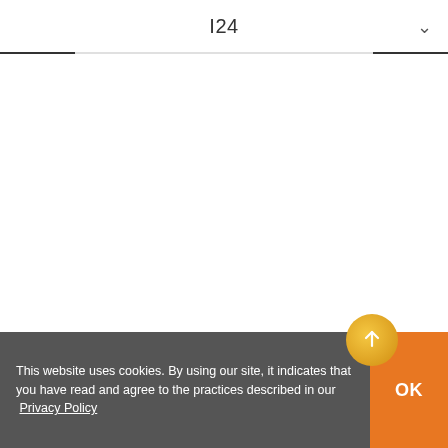I24
This website uses cookies. By using our site, it indicates that you have read and agree to the practices described in our  Privacy Policy